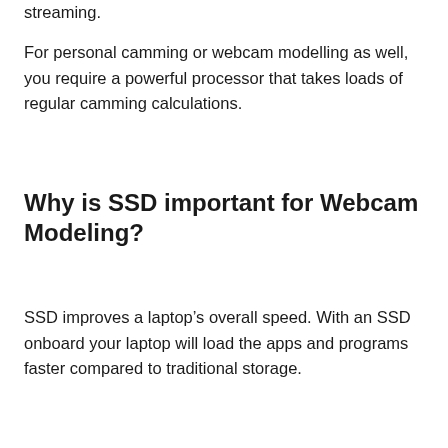streaming.
For personal camming or webcam modelling as well, you require a powerful processor that takes loads of regular camming calculations.
Why is SSD important for Webcam Modeling?
SSD improves a laptop’s overall speed. With an SSD onboard your laptop will load the apps and programs faster compared to traditional storage.